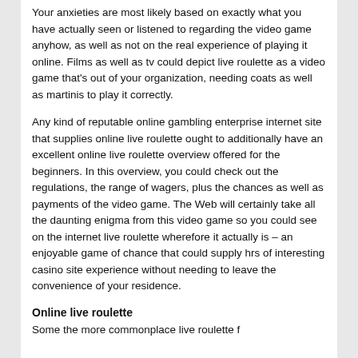Your anxieties are most likely based on exactly what you have actually seen or listened to regarding the video game anyhow, as well as not on the real experience of playing it online. Films as well as tv could depict live roulette as a video game that's out of your organization, needing coats as well as martinis to play it correctly.
Any kind of reputable online gambling enterprise internet site that supplies online live roulette ought to additionally have an excellent online live roulette overview offered for the beginners. In this overview, you could check out the regulations, the range of wagers, plus the chances as well as payments of the video game. The Web will certainly take all the daunting enigma from this video game so you could see on the internet live roulette wherefore it actually is – an enjoyable game of chance that could supply hrs of interesting casino site experience without needing to leave the convenience of your residence.
Online live roulette
Some the more commonplace live roulette f...